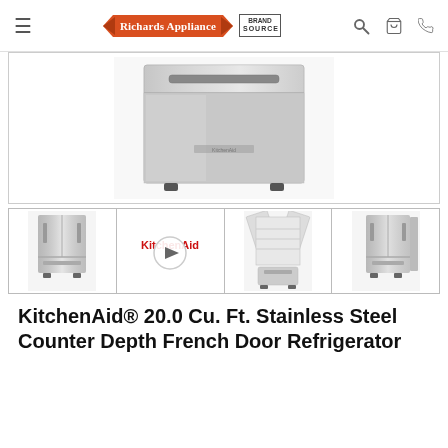[Figure (logo): Richards Appliance logo with orange banner and Brand Source badge, plus navigation icons (hamburger menu, search, cart, phone)]
[Figure (photo): Main product image: bottom freezer drawer of a stainless steel French door refrigerator, front view]
[Figure (photo): Thumbnail 1: Full front view of stainless steel French door refrigerator]
[Figure (photo): Thumbnail 2: KitchenAid logo with video play button overlay]
[Figure (photo): Thumbnail 3: Interior open view of French door refrigerator with freezer drawer extended]
[Figure (photo): Thumbnail 4: Right-angle front view of stainless steel French door refrigerator]
KitchenAid® 20.0 Cu. Ft. Stainless Steel Counter Depth French Door Refrigerator